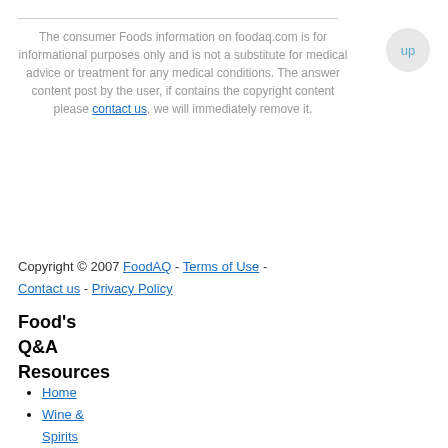The consumer Foods information on foodaq.com is for informational purposes only and is not a substitute for medical advice or treatment for any medical conditions. The answer content post by the user, if contains the copyright content please contact us, we will immediately remove it.
Copyright © 2007 FoodAQ - Terms of Use - Contact us - Privacy Policy
Food's Q&A Resources
Home
Wine & Spirits
Entertaining
Ethnic Cuisine
Non-Alcoholic Drinks
Vegetarian